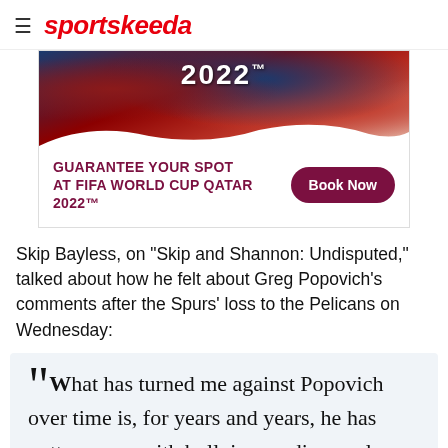sportskeeda
[Figure (infographic): Advertisement banner for FIFA World Cup Qatar 2022 with crowd photo, text 'GUARANTEE YOUR SPOT AT FIFA WORLD CUP QATAR 2022™' and a 'Book Now' button]
Skip Bayless, on "Skip and Shannon: Undisputed," talked about how he felt about Greg Popovich's comments after the Spurs' loss to the Pelicans on Wednesday:
"What has turned me against Popovich over time is, for years and years, he has gotten away with bullying media people, on TV and in postgame interviews consistently, and gotten a pass for it